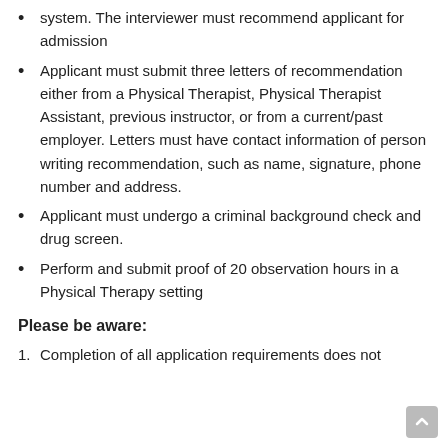system. The interviewer must recommend applicant for admission
Applicant must submit three letters of recommendation either from a Physical Therapist, Physical Therapist Assistant, previous instructor, or from a current/past employer. Letters must have contact information of person writing recommendation, such as name, signature, phone number and address.
Applicant must undergo a criminal background check and drug screen.
Perform and submit proof of 20 observation hours in a Physical Therapy setting
Please be aware:
Completion of all application requirements does not